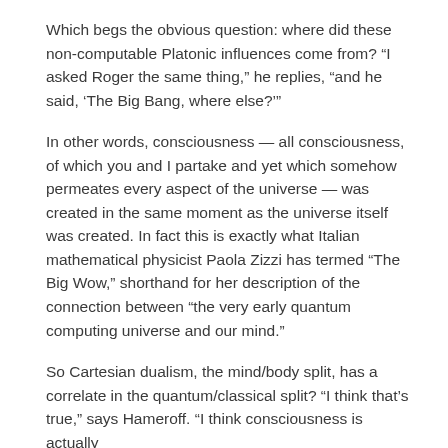Which begs the obvious question: where did these non-computable Platonic influences come from? “I asked Roger the same thing,” he replies, “and he said, ‘The Big Bang, where else?’”
In other words, consciousness — all consciousness, of which you and I partake and yet which somehow permeates every aspect of the universe — was created in the same moment as the universe itself was created. In fact this is exactly what Italian mathematical physicist Paola Zizzi has termed “The Big Wow,” shorthand for her description of the connection between “the very early quantum computing universe and our mind.”
So Cartesian dualism, the mind/body split, has a correlate in the quantum/classical split? “I think that’s true,” says Hameroff. “I think consciousness is actually